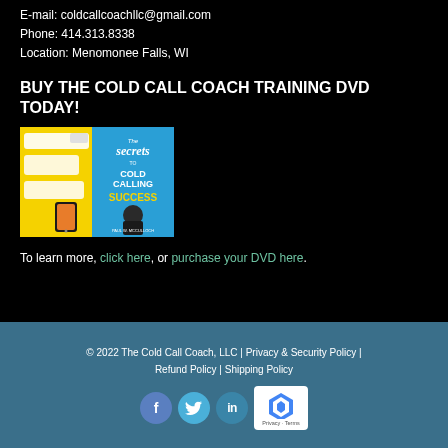E-mail: coldcallcoachllc@gmail.com
Phone: 414.313.8338
Location: Menomonee Falls, WI
BUY THE COLD CALL COACH TRAINING DVD TODAY!
[Figure (illustration): DVD/book cover for 'The Secrets to Cold Calling Success' featuring yellow and blue design with a man in a suit and smartphone imagery]
To learn more, click here, or purchase your DVD here.
© 2022 The Cold Call Coach, LLC | Privacy & Security Policy | Refund Policy | Shipping Policy